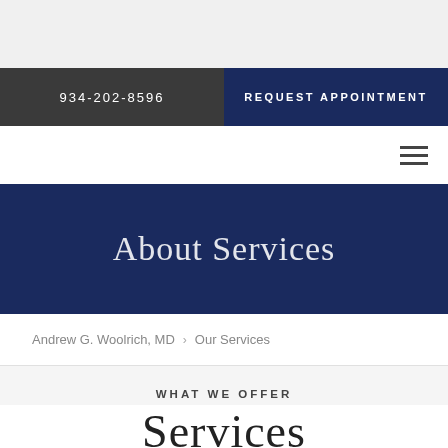934-202-8596 | REQUEST APPOINTMENT
About Services
Andrew G. Woolrich, MD > Our Services
WHAT WE OFFER
Services